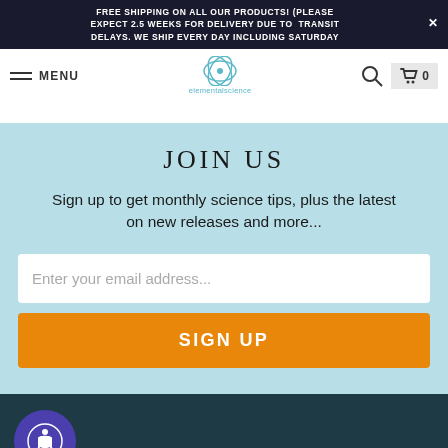FREE SHIPPING ON ALL OUR PRODUCTS! (PLEASE EXPECT 2.5 WEEKS FOR DELIVERY DUE TO TRANSIT DELAYS. WE SHIP EVERY DAY INCLUDING SATURDAY
[Figure (logo): Elemental Science logo with circular atom-like icon and text 'elementalscience']
JOIN US
Sign up to get monthly science tips, plus the latest on new releases and more...
Enter your email address...
SIGN UP
[Figure (illustration): Purple circular accessibility icon button in dark teal footer]